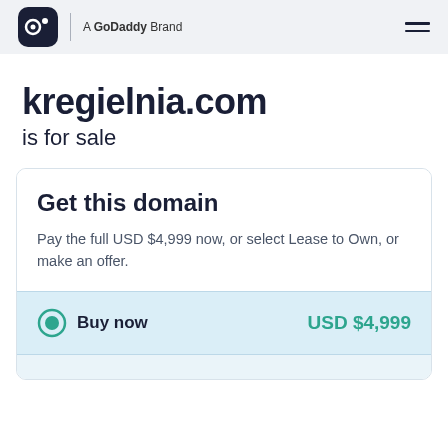dan.com — A GoDaddy Brand
kregielnia.com is for sale
Get this domain
Pay the full USD $4,999 now, or select Lease to Own, or make an offer.
Buy now — USD $4,999